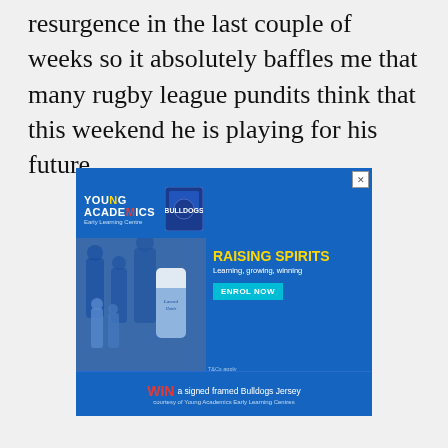resurgence in the last couple of weeks so it absolutely baffles me that many rugby league pundits think that this weekend he is playing for his future.
[Figure (advertisement): Young Academics Early Learning Centre advertisement featuring Bulldogs rugby league team. Blue background with Young Academics and Bulldogs logos at top, photo of rugby players and children in team gear on left, text 'RAISING SPIRITS Learning, growing, winning' with 'ENROL NOW' button on right. Bottom section reads 'WIN a signed framed Bulldogs Jersey courtesy of Young Academics Early Learning Centres'.]